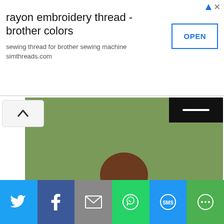[Figure (infographic): Advertisement banner for rayon embroidery thread - brother colors, with OPEN button and simthreads.com link]
[Figure (photo): A young girl from behind wearing a patterned dress holding hands, with a bow in her hair, in a field]
These bright and cheerful colors are just perfect for spring and summer. What would you make with the
[Figure (infographic): Social sharing bar with Twitter, Facebook, Email, WhatsApp, SMS, and More buttons]